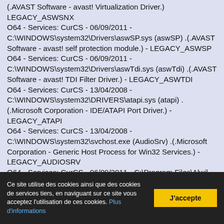(.AVAST Software - avast! Virtualization Driver.) LEGACY_ASWSNX
O64 - Services: CurCS - 06/09/2011 - C:\WINDOWS\system32\Drivers\aswSP.sys (aswSP) .(.AVAST Software - avast! self protection module.) - LEGACY_ASWSP
O64 - Services: CurCS - 06/09/2011 - C:\WINDOWS\system32\Drivers\aswTdi.sys (aswTdi) .(.AVAST Software - avast! TDI Filter Driver.) - LEGACY_ASWTDI
O64 - Services: CurCS - 13/04/2008 - C:\WINDOWS\system32\DRIVERS\atapi.sys (atapi) .(.Microsoft Corporation - IDE/ATAPI Port Driver.) - LEGACY_ATAPI
O64 - Services: CurCS - 13/04/2008 - C:\WINDOWS\system32\svchost.exe (AudioSrv) .(.Microsoft Corporation - Generic Host Process for Win32 Services.) - LEGACY_AUDIOSRV
O64 - Services: CurCS - 06/09/2011 - C:\Program Files\Alwil Software\Avast5\AvastSvc.exe (avast! Antivirus) .(.AVAST Software - avast! Service.) - LEGACY_AVAST!_ANTIVIRUS
O64 - Services: CurCS - 13/04/2008 -
Ce site utilise des cookies ainsi que des cookies de services tiers, en naviguant sur ce site vous acceptez l'utilisation de ces cookies. Plus d'informations
J'accepte